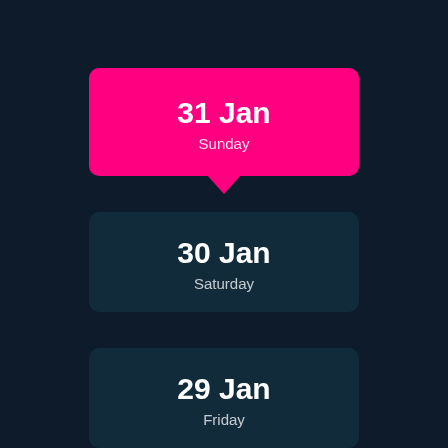[Figure (infographic): A dark-themed date picker UI showing three date cards stacked vertically. The top card is highlighted in hot pink with a downward-pointing speech bubble arrow and shows '31 Jan / Sunday'. Below are two dark teal cards showing '30 Jan / Saturday' and '29 Jan / Friday'.]
31 Jan
Sunday
30 Jan
Saturday
29 Jan
Friday